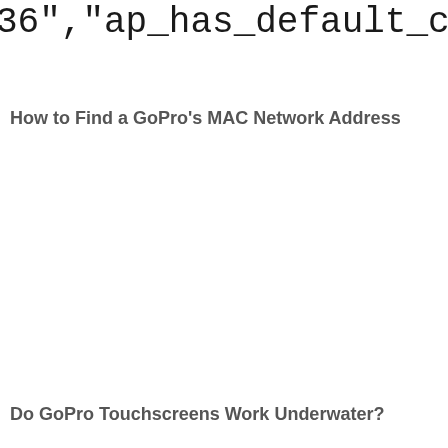36","ap_has_default_c
ilities":"16","lens_c
How to Find a GoPro's MAC Network Address
Do GoPro Touchscreens Work Underwater?